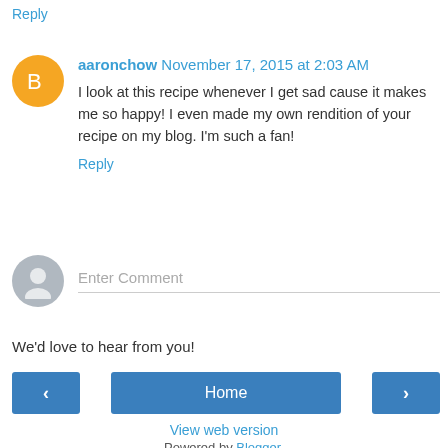Reply
aaronchow  November 17, 2015 at 2:03 AM
I look at this recipe whenever I get sad cause it makes me so happy! I even made my own rendition of your recipe on my blog. I'm such a fan!
Reply
Enter Comment
We'd love to hear from you!
< Home >
View web version
Powered by Blogger.